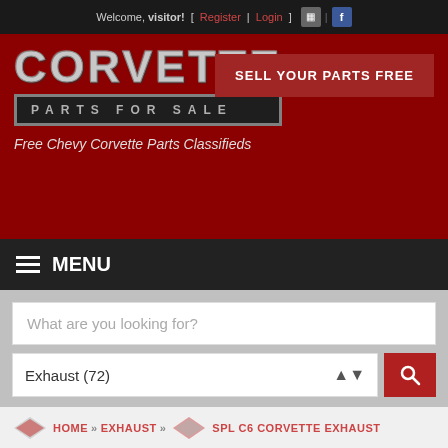Welcome, visitor! [ Register | Login ]
[Figure (logo): Corvette Parts For Sale logo on dark red banner background with silver metallic text]
Free Chevy Corvette Parts Classifieds
SELL YOUR PARTS FREE
≡ MENU
What are you looking for?
Exhaust (72)
HOME » EXHAUST » SPL C6 CORVETTE EXHAUST